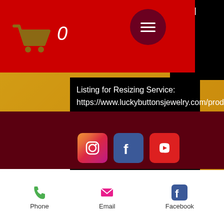[Figure (screenshot): Mobile website screenshot of Lucky Buttons Jewelry. Red header bar with shopping cart icon showing 0 items and hamburger menu. Black content box with listing text for resizing service URL. Social sharing icons (WhatsApp, Facebook, Twitter, Pinterest). Dark maroon footer band with Instagram, Facebook, YouTube icons. White bottom bar with Phone, Email, Facebook contact options.]
Listing for Resizing Service: https://www.luckybuttonsjewelry.com/product-page/ring-resizing-service-after-purchase